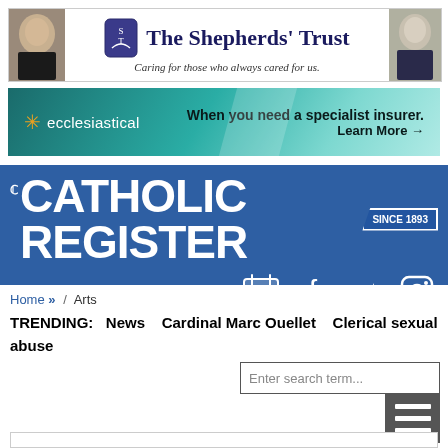[Figure (illustration): The Shepherds' Trust banner ad with two clergy photos on sides, logo, title and tagline 'Caring for those who always cared for us.']
[Figure (illustration): Ecclesiastical insurance banner ad with teal gradient background, snowflake logo, 'When you need a specialist insurer. Learn More →']
[Figure (logo): The Catholic Register masthead banner in blue with social media icons (calendar, Facebook, Twitter, Instagram) and 'SINCE 1893' badge]
Home » / Arts
TRENDING:   News   Cardinal Marc Ouellet   Clerical sexual abuse
Enter search term...